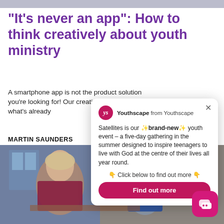“It’s never an app”: How to think creatively about youth ministry
A smartphone app is not the product solution you’re looking for! Our creative, pione... what’s already
MARTIN SAUNDERS
[Figure (screenshot): Popup overlay from Youthscape showing a promotional message about 'Satellites' youth event with a 'Find out more' button]
[Figure (photo): Photo of teenagers studying or working at a table in a casual indoor setting]